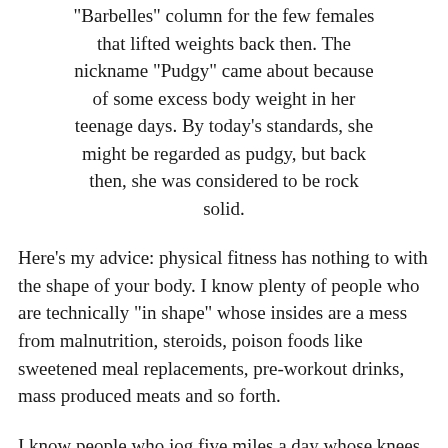“Barbelles” column for the few females that lifted weights back then. The nickname “Pudgy” came about because of some excess body weight in her teenage days. By today’s standards, she might be regarded as pudgy, but back then, she was considered to be rock solid.
Here’s my advice: physical fitness has nothing to with the shape of your body. I know plenty of people who are technically “in shape” whose insides are a mess from malnutrition, steroids, poison foods like sweetened meal replacements, pre-workout drinks, mass produced meats and so forth.
I know people who jog five miles a day whose knees are just about ready to give out. They can’t even lift their own suitcase and goodness knows they can’t sprint.